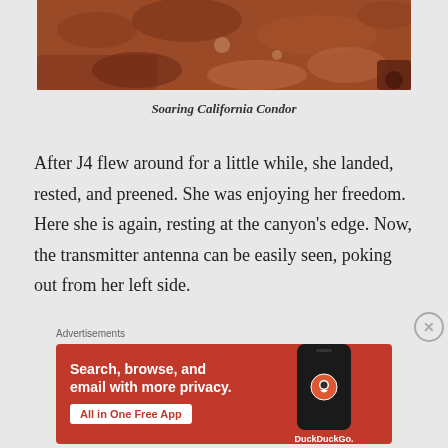[Figure (photo): Partial photo of a rocky reddish-brown terrain, cropped at top — part of a California Condor image]
Soaring California Condor
After J4 flew around for a little while, she landed, rested, and preened. She was enjoying her freedom. Here she is again, resting at the canyon's edge. Now, the transmitter antenna can be easily seen, poking out from her left side.
[Figure (screenshot): DuckDuckGo advertisement: 'Search, browse, and email with more privacy. All in One Free App' with phone mockup and DuckDuckGo logo on orange/red background]